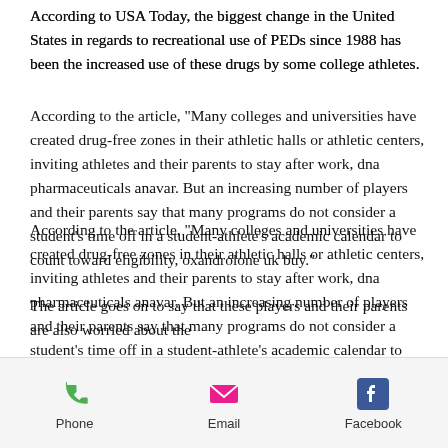According to USA Today, the biggest change in the United States in regards to recreational use of PEDs since 1988 has been the increased use of these drugs by some college athletes.
According to the article, "Many colleges and universities have created drug-free zones in their athletic halls or athletic centers, inviting athletes and their parents to stay after work, dna pharmaceuticals anavar. But an increasing number of players and their parents say that many programs do not consider a student's time off in a student-athlete's academic calendar to count toward eligibility, oxandrolone uk buy."
The article goes on to say that these players and their parents are also worried about the
Phone  Email  Facebook